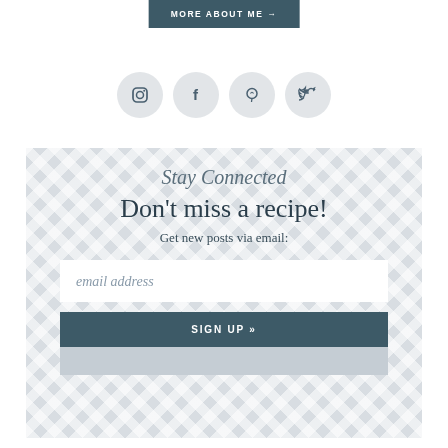MORE ABOUT ME →
[Figure (illustration): Row of four social media icon circles: Instagram, Facebook, Pinterest, Twitter]
Stay Connected
Don't miss a recipe!
Get new posts via email:
email address
SIGN UP »